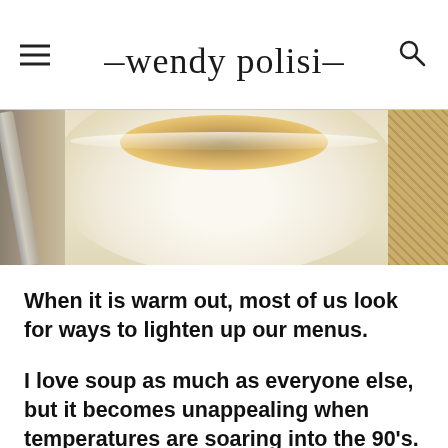wendy polisi
[Figure (photo): Close-up photo of a white bowl of soup with a fork on the left side and woven texture on the right side, warm cream/golden tones]
When it is warm out, most of us look for ways to lighten up our menus.
I love soup as much as everyone else, but it becomes unappealing when temperatures are soaring into the 90's.